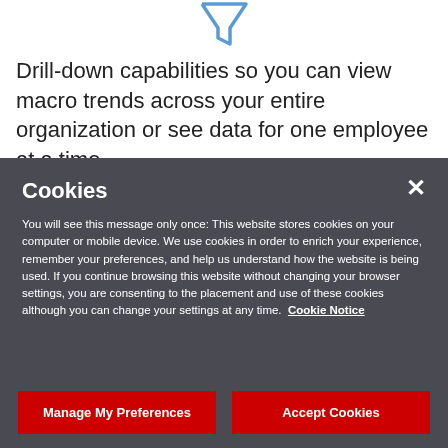[Figure (illustration): Partial icon/graphic visible at top center of page — appears to be a stylized funnel or filter icon in blue/teal outline]
Drill-down capabilities so you can view macro trends across your entire organization or see data for one employee at a time
Cookies
You will see this message only once: This website stores cookies on your computer or mobile device. We use cookies in order to enrich your experience, remember your preferences, and help us understand how the website is being used. If you continue browsing this website without changing your browser settings, you are consenting to the placement and use of these cookies although you can change your settings at any time.  Cookie Notice
Manage My Preferences
Accept Cookies